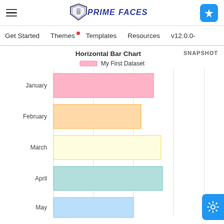PrimeFaces
Get Started | Themes | Templates | Resources | v12.0.0-
[Figure (bar-chart): Horizontal Bar Chart]